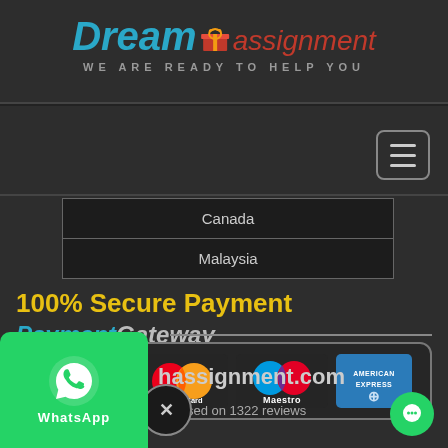Dream assignment — WE ARE READY TO HELP YOU
[Figure (screenshot): Hamburger menu button (three horizontal lines) in top-right area]
| Canada |
| Malaysia |
100% Secure Payment
PaymentGateway
[Figure (infographic): Payment gateway logos: VISA, MasterCard, Maestro, American Express in a rounded border box]
[Figure (logo): WhatsApp green badge with phone icon and WhatsApp text in bottom-left corner]
hassignment.com
/5 based on 1322 reviews